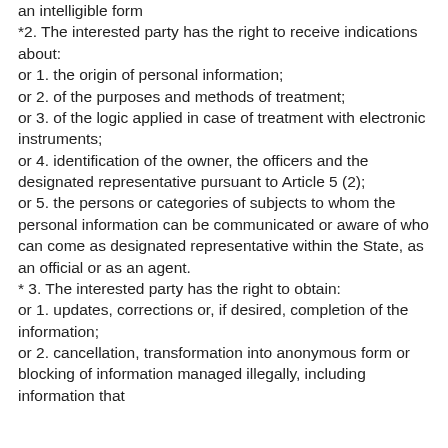an intelligible form
*2. The interested party has the right to receive indications about:
or 1. the origin of personal information;
or 2. of the purposes and methods of treatment;
or 3. of the logic applied in case of treatment with electronic instruments;
or 4. identification of the owner, the officers and the designated representative pursuant to Article 5 (2);
or 5. the persons or categories of subjects to whom the personal information can be communicated or aware of who can come as designated representative within the State, as an official or as an agent.
* 3. The interested party has the right to obtain:
or 1. updates, corrections or, if desired, completion of the information;
or 2. cancellation, transformation into anonymous form or blocking of information managed illegally, including information that